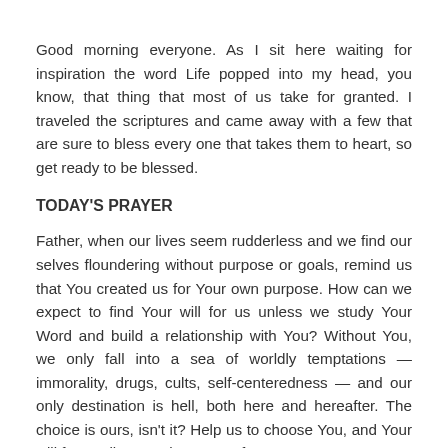Good morning everyone. As I sit here waiting for inspiration the word Life popped into my head, you know, that thing that most of us take for granted. I traveled the scriptures and came away with a few that are sure to bless every one that takes them to heart, so get ready to be blessed.
TODAY'S PRAYER
Father, when our lives seem rudderless and we find our selves floundering without purpose or goals, remind us that You created us for Your own purpose. How can we expect to find Your will for us unless we study Your Word and build a relationship with You? Without You, we only fall into a sea of worldly temptations — immorality, drugs, cults, self-centeredness — and our only destination is hell, both here and hereafter. The choice is ours, isn't it? Help us to choose You, and Your will for our lives. In the name of Jesus we pray. Amen.